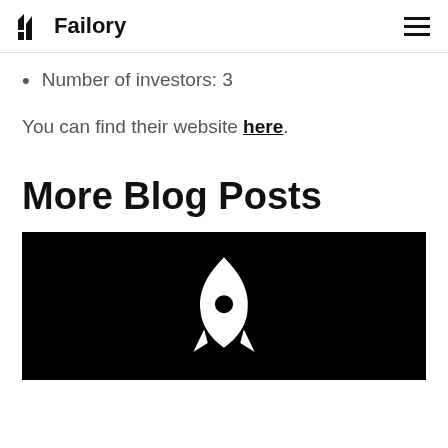Failory
Number of investors: 3
You can find their website here.
More Blog Posts
[Figure (illustration): Black background image with a white rocket ship icon/silhouette in the center, partially visible at bottom of page]